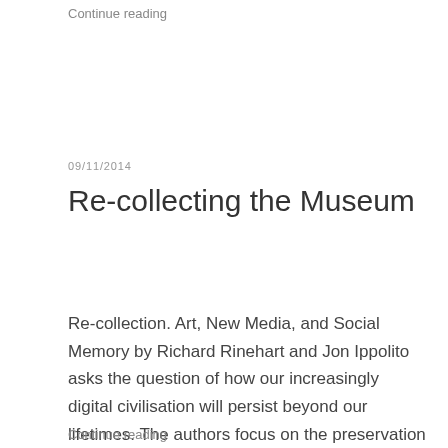Continue reading
09/11/2014
Re-collecting the Museum
Re-collection. Art, New Media, and Social Memory by Richard Rinehart and Jon Ippolito asks the question of how our increasingly digital civilisation will persist beyond our lifetimes. The authors focus on the preservation of new media art as a case study in new media's broader challenge to social memory. Rinehart and Ippolito are well-known names …
Continue reading